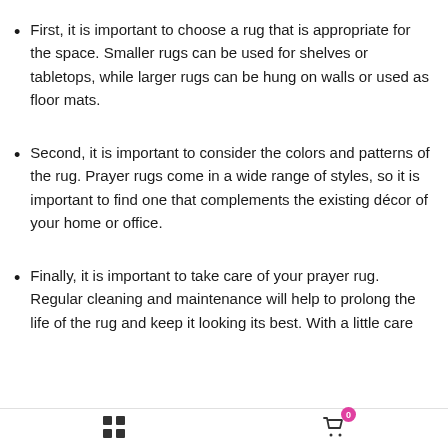First, it is important to choose a rug that is appropriate for the space. Smaller rugs can be used for shelves or tabletops, while larger rugs can be hung on walls or used as floor mats.
Second, it is important to consider the colors and patterns of the rug. Prayer rugs come in a wide range of styles, so it is important to find one that complements the existing décor of your home or office.
Finally, it is important to take care of your prayer rug. Regular cleaning and maintenance will help to prolong the life of the rug and keep it looking its best. With a little care
grid icon | cart icon with badge 0